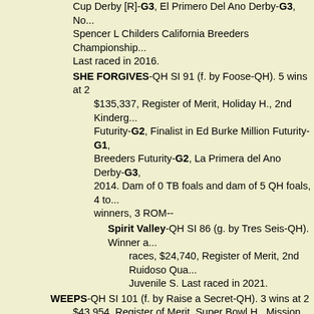Cup Derby [R]-G3, El Primero Del Ano Derby-G3, No...Spencer L Childers California Breeders Championship...Last raced in 2016.
SHE FORGIVES-QH SI 91 (f. by Foose-QH). 5 wins at 2, $135,337, Register of Merit, Holiday H., 2nd Kindergarten Futurity-G2, Finalist in Ed Burke Million Futurity-G1, Breeders Futurity-G2, La Primera del Ano Derby-G3, 2014. Dam of 0 TB foals and dam of 5 QH foals, 4 to win winners, 3 ROM--
Spirit Valley-QH SI 86 (g. by Tres Seis-QH). Winner at 2 races, $24,740, Register of Merit, 2nd Ruidoso Qua... Juvenile S. Last raced in 2021.
WEEPS-QH SI 101 (f. by Raise a Secret-QH). 3 wins at 2, $43,954, Register of Merit, Super Bowl H., Mission Viejo... Ford Memorial H. Producer. Last raced in 2003.
Making Fire-QH SI 103 (g. by Walk Thru Fire-QH). 4 wins races, $87,428, Superior Race Horse, Register of Merit, Breeders' Derby-G2, Jens L List Jr. Memorial California [R]-G3. Last raced in 2016.
Way Up-QH SI 87 (f. by Casady Casanova-QH). Winner at 2 $7,143, Register of Merit. Last raced in 1995. Dam of dam of 5 QH foals, 3 to race, all winners, 3 ROM--
Upper-QH SI 91 (f. by Raise a Secret-QH). Winner at 3 $11,099, Register of Merit. Last raced in 2001. Dam and dam of 3 QH foals, 2 to race, all winners, 2 ROM
ARRIBA CORONA-QH SI101 (g. by Corona Czech...